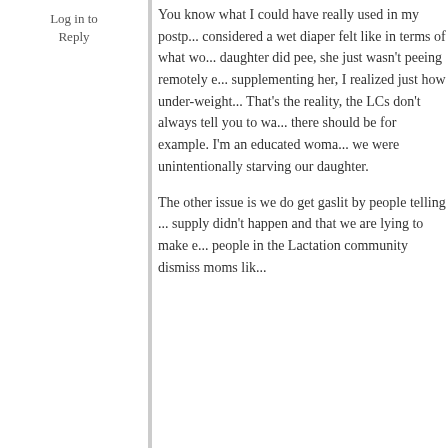Log in to Reply
You know what I could have really used in my postp... considered a wet diaper felt like in terms of what wo... daughter did pee, she just wasn't peeing remotely e... supplementing her, I realized just how under-weight... That's the reality, the LCs don't always tell you to wa... there should be for example. I'm an educated woma... we were unintentionally starving our daughter.

The other issue is we do get gaslit by people telling ... supply didn't happen and that we are lying to make e... people in the Lactation community dismiss moms lik...
Log in to Reply
Jules B
I only just realized reading your comment that at... daughter, I was like “Wow! I wonder why I am su... diapers??” I distinctly remember thinking that at... that before, when I was (trying) to breastfeed ex... less because she was peeing less. Of course, a... never before changed a diaper and was told “as... diapers, all is well,” I never even thought to look... diaper. (Which is hard with disposables sometim...